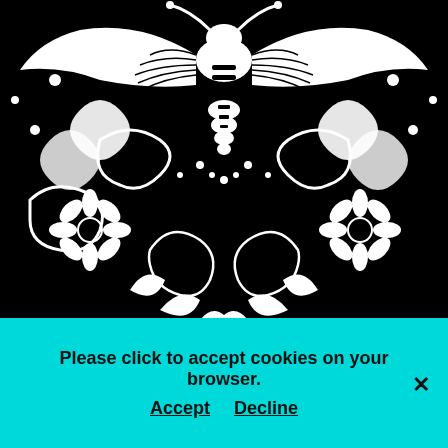[Figure (illustration): Black and white intricate illustration of a moth/butterfly centered at top, with decorative floral and swirling patterns against a black background. The top panel shows the upper body and wings of a large moth with detailed striped abdomen, surrounded by flowers and ornate scrollwork on a black background.]
[Figure (illustration): Black and white intricate illustration of a large moth/butterfly with spread wings filling an oval shape against a cream/beige background. The moth has detailed wing patterns with eye-like shapes, tribal-style decorative elements, and a prominent dark body in the center.]
Please click to accept cookies on your browser.
Accept   Decline